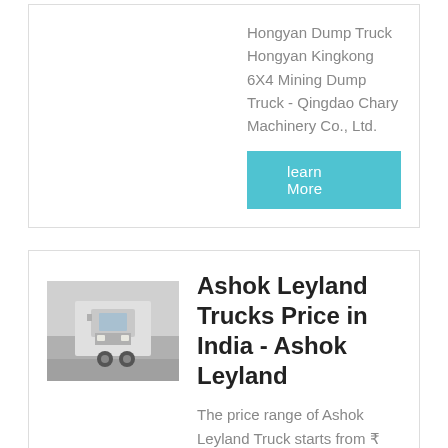Hongyan Dump Truck Hongyan Kingkong 6X4 Mining Dump Truck - Qingdao Chary Machinery Co., Ltd.
learn More
Ashok Leyland Trucks Price in India - Ashok Leyland
The price range of Ashok Leyland Truck starts from ₹ 17.53 Lakh for the most economic model in its lineup, the Ecomet 1015 HE. The most expensive Truck in Ashok Leyland